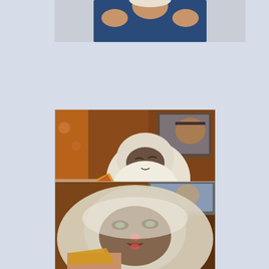[Figure (photo): Top photo: person in blue shirt with hands near face, only top portion visible, cropped at top of page]
[Figure (photo): Middle photo: fluffy Himalayan/Siamese cat being offered a slice of pizza by a person's hand, with a TV showing a man's face in the background, warm indoor lighting]
[Figure (photo): Bottom photo: close-up of the same fluffy Himalayan/Siamese cat eating pizza, face close to camera and slightly blurred, TV visible in background]